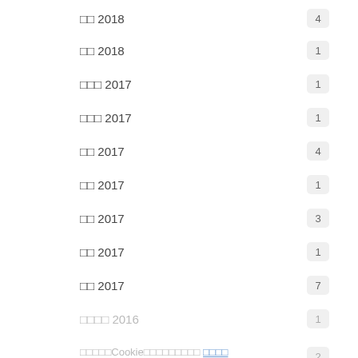□□ 2018 — 4
□□ 2018 — 1
□□□ 2017 — 1
□□□ 2017 — 1
□□ 2017 — 4
□□ 2017 — 1
□□ 2017 — 3
□□ 2017 — 1
□□ 2017 — 7
□□□□ 2016 — 1
□□□□□Cookie□□□□□□□□□ □□□□ / □□ 2016 — 2
□□ 2016 □□□□ — 1
□□ 2016 — 3